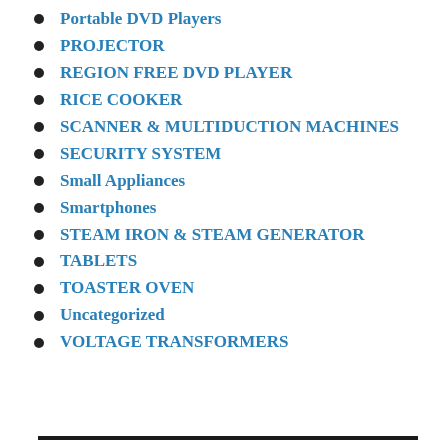Portable DVD Players
PROJECTOR
REGION FREE DVD PLAYER
RICE COOKER
SCANNER & MULTIDUCTION MACHINES
SECURITY SYSTEM
Small Appliances
Smartphones
STEAM IRON & STEAM GENERATOR
TABLETS
TOASTER OVEN
Uncategorized
VOLTAGE TRANSFORMERS